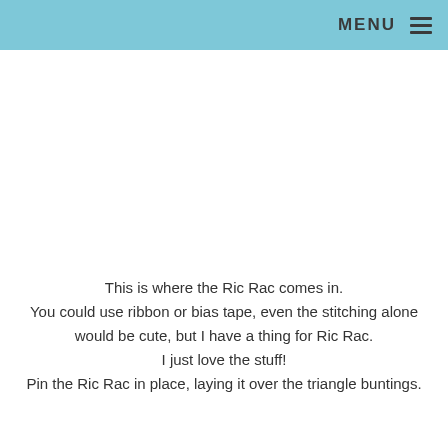MENU
This is where the Ric Rac comes in.
You could use ribbon or bias tape, even the stitching alone would be cute, but I have a thing for Ric Rac.
I just love the stuff!
Pin the Ric Rac in place, laying it over the triangle buntings.